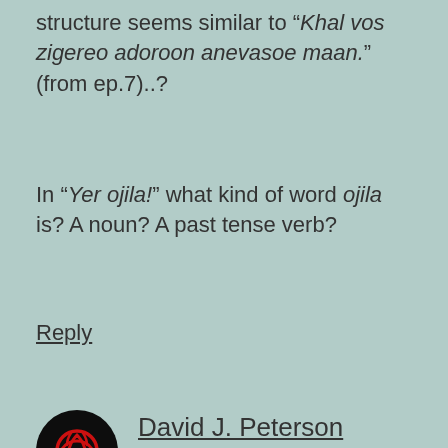structure seems similar to “Khal vos zigereo adoroon anevasoe maan.” (from ep.7)..?
In “Yer ojila!” what kind of word ojila is? A noun? A past tense verb?
Reply
David J. Peterson
November 2, 2011 at 3:32 pm
Yeraan eth nem viqaferi ayyey!
Umm... “To you must be begged, always!” If